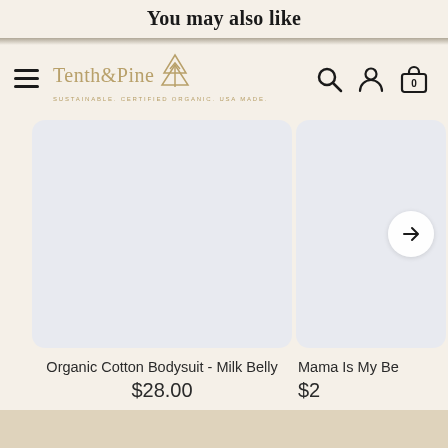You may also like
[Figure (logo): Tenth & Pine logo with pine tree icon and tagline: SUSTAINABLE. CERTIFIED ORGANIC. USA MADE.]
[Figure (screenshot): Organic Cotton Bodysuit - Milk Belly product image placeholder (light blue-grey rectangle)]
Organic Cotton Bodysuit - Milk Belly
$28.00
[Figure (screenshot): Mama Is My Be... product image placeholder (partially visible, light blue-grey rectangle) with right arrow navigation button]
Mama Is My Be
$2